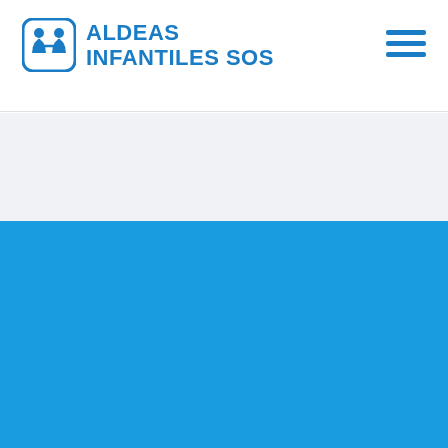[Figure (logo): Aldeas Infantiles SOS logo with icon showing two children silhouettes in a rounded square, and organization name in blue]
[Figure (illustration): 50 Años anniversary badge showing a house shape with the number 50 and text AÑOS, with cartoon children illustrations, on a blue background]